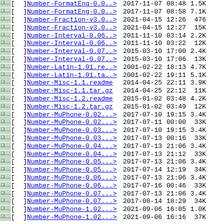| icon | type | filename | date | time | size |
| --- | --- | --- | --- | --- | --- |
| [img] |   | Number-FormatEng-0.0..> | 2017-11-07 | 08:48 | 1.5K |
| [img] |   | Number-FormatEng-0.0..> | 2017-11-07 | 08:58 | 7.1K |
| [img] |   | Number-Fraction-v3.0..> | 2021-04-15 | 12:26 | 476 |
| [img] |   | Number-Fraction-v3.0..> | 2021-04-15 | 12:27 | 15K |
| [img] |   | Number-Interval-0.06..> | 2011-11-10 | 03:14 | 2.2K |
| [img] |   | Number-Interval-0.06..> | 2011-11-10 | 03:22 | 12K |
| [img] |   | Number-Interval-0.07..> | 2015-03-10 | 17:00 | 2.4K |
| [img] |   | Number-Interval-0.07..> | 2015-03-10 | 17:06 | 13K |
| [img] |   | Number-Latin-1.01.re..> | 2001-02-22 | 18:13 | 4.7K |
| [img] |   | Number-Latin-1.01.ta..> | 2001-02-22 | 19:11 | 5.1K |
| [img] |   | Number-Misc-1.1.readme | 2014-04-25 | 22:11 | 3.9K |
| [img] |   | Number-Misc-1.1.tar.gz | 2014-04-25 | 22:12 | 11K |
| [img] |   | Number-Misc-1.2.readme | 2015-01-02 | 03:48 | 4.2K |
| [img] |   | Number-Misc-1.2.tar.gz | 2015-01-02 | 03:49 | 12K |
| [img] |   | Number-MuPhone-0.02...> | 2017-07-10 | 19:15 | 3.4K |
| [img] |   | Number-MuPhone-0.02...> | 2017-07-11 | 00:00 | 33K |
| [img] |   | Number-MuPhone-0.03...> | 2017-07-10 | 19:15 | 3.4K |
| [img] |   | Number-MuPhone-0.03...> | 2017-07-13 | 00:16 | 33K |
| [img] |   | Number-MuPhone-0.04...> | 2017-07-13 | 21:06 | 3.4K |
| [img] |   | Number-MuPhone-0.04...> | 2017-07-13 | 21:12 | 33K |
| [img] |   | Number-MuPhone-0.05...> | 2017-07-13 | 21:06 | 3.4K |
| [img] |   | Number-MuPhone-0.05...> | 2017-07-14 | 12:19 | 34K |
| [img] |   | Number-MuPhone-0.06...> | 2017-07-13 | 21:06 | 3.4K |
| [img] |   | Number-MuPhone-0.06...> | 2017-07-16 | 00:46 | 33K |
| [img] |   | Number-MuPhone-0.07...> | 2017-07-13 | 21:06 | 3.4K |
| [img] |   | Number-MuPhone-0.07...> | 2017-08-14 | 18:29 | 34K |
| [img] |   | Number-MuPhone-1.02...> | 2021-09-06 | 16:05 | 1.0K |
| [img] |   | Number-MuPhone-1.02...> | 2021-09-06 | 16:16 | 37K |